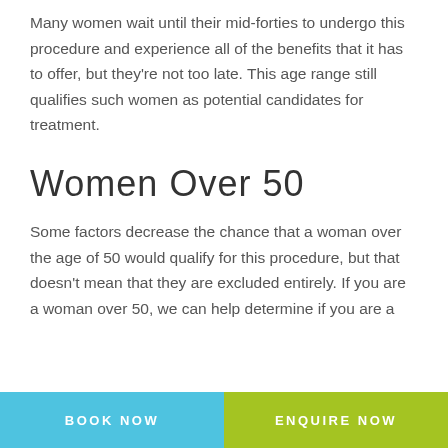Many women wait until their mid-forties to undergo this procedure and experience all of the benefits that it has to offer, but they're not too late. This age range still qualifies such women as potential candidates for treatment.
Women Over 50
Some factors decrease the chance that a woman over the age of 50 would qualify for this procedure, but that doesn't mean that they are excluded entirely. If you are a woman over 50, we can help determine if you are a
BOOK NOW   ENQUIRE NOW